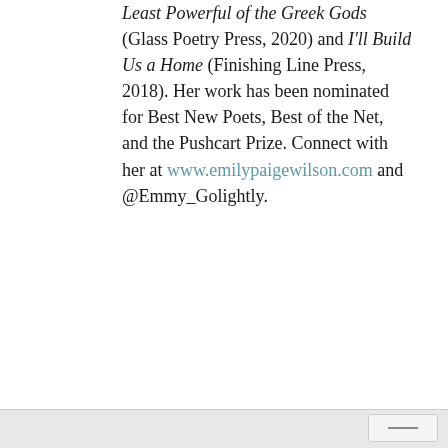Least Powerful of the Greek Gods (Glass Poetry Press, 2020) and I'll Build Us a Home (Finishing Line Press, 2018). Her work has been nominated for Best New Poets, Best of the Net, and the Pushcart Prize. Connect with her at www.emilypaigewilson.com and @Emmy_Golightly.